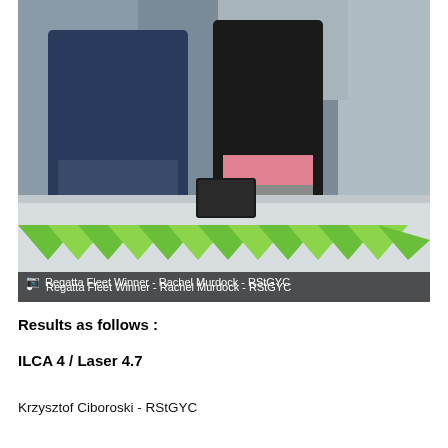[Figure (photo): Photo of a regatta prize giving scene. Two people standing behind a table covered with a white cloth and green triangle bunting. One person in a dark navy jacket appears to be handing something to a younger person in a black jacket and pink/grey sportswear. The setting appears to be outdoors at a sailing club.]
Regatta Fleet Winner - Rachel Murdock - RStGYC
Results as follows :
ILCA 4 / Laser 4.7
Krzysztof Ciboroski - RStGYC